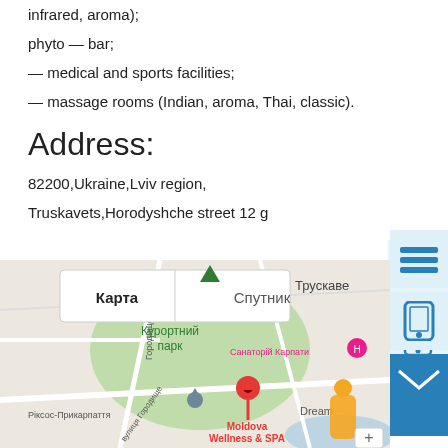infrared, aroma);
phyto — bar;
— medical and sports facilities;
— massage rooms (Indian, aroma, Thai, classic).
Address:
82200,Ukraine,Lviv region,
Truskavets,Horodyshche street 12 g
[Figure (map): Google Map showing Truskavets, Ukraine with Moldova Wellness & SPA location marked with a red pin. Map shows Курортний парк (Resort Park) in green, Ріксос-Прикарпаття hotel, Санаторій Карпати, and map/satellite toggle buttons labeled Карта and Спутник in Ukrainian.]